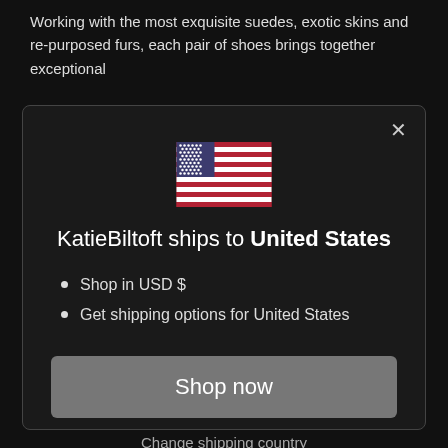Working with the most exquisite suedes, exotic skins and re-purposed furs, each pair of shoes brings together exceptional
[Figure (illustration): US flag emoji/icon displayed centered in modal dialog]
KatieBiltoft ships to United States
Shop in USD $
Get shipping options for United States
Shop now
Change shipping country